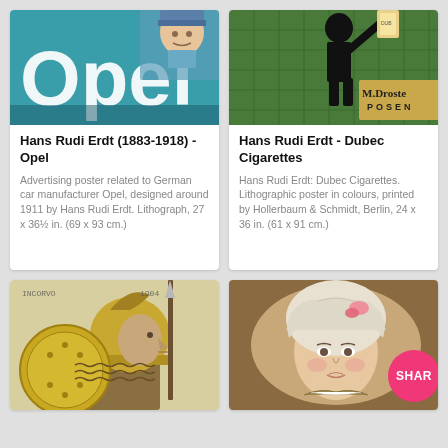[Figure (illustration): Opel advertising poster showing a man in blue and large white 'Opel' text on teal background]
Hans Rudi Erdt (1883-1918) - Opel
Advertising poster related to German car manufacturer Opel, designed around 1911 by Hans Rudi Erdt. Lithograph, 27 x 36½ in. (69 x 93 cm.)
[Figure (illustration): M. Droste Posen cigarette advertisement showing a black silhouette figure on green tiled background]
Hans Rudi Erdt - Dubec Cigarettes
Hans Rudi Erdt: Dubec Cigarettes. Lithographic poster in colours, printed by Hollerbaum & Schmidt, Berlin, 24 x 36 in. (61 x 91 cm.)
[Figure (illustration): Historical illustration of a warrior in helmet with golden shield and armor]
[Figure (photo): Portrait painting of a woman with pink flower in hair, with pink SHAR badge overlay]